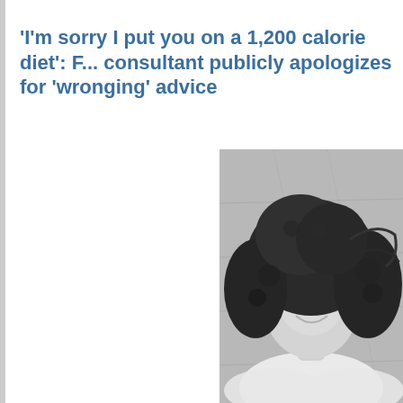'I'm sorry I put you on a 1,200 calorie diet': consultant publicly apologizes for 'wronging' advice
[Figure (photo): Black and white photograph of a smiling woman with curly dark hair leaning against a concrete or stone wall, wearing a white top]